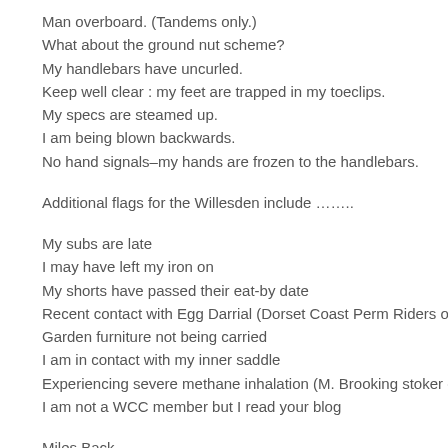Man overboard. (Tandems only.)
What about the ground nut scheme?
My handlebars have uncurled.
Keep well clear : my feet are trapped in my toeclips.
My specs are steamed up.
I am being blown backwards.
No hand signals–my hands are frozen to the handlebars.
Additional flags for the Willesden include ……..
My subs are late
I may have left my iron on
My shorts have passed their eat-by date
Recent contact with Egg Darrial (Dorset Coast Perm Riders o
Garden furniture not being carried
I am in contact with my inner saddle
Experiencing severe methane inhalation (M. Brooking stoker d
I am not a WCC member but I read your blog
Miles Back